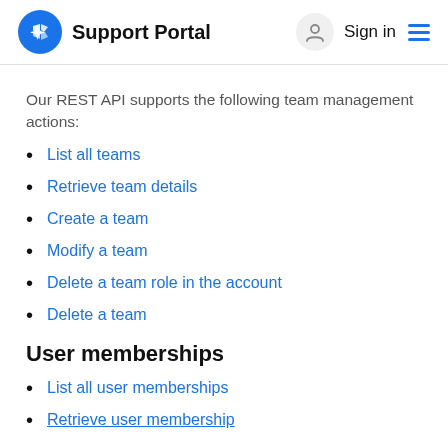Support Portal  Sign in
Our REST API supports the following team management actions:
List all teams
Retrieve team details
Create a team
Modify a team
Delete a team role in the account
Delete a team
User memberships
List all user memberships
Retrieve user membership (truncated)